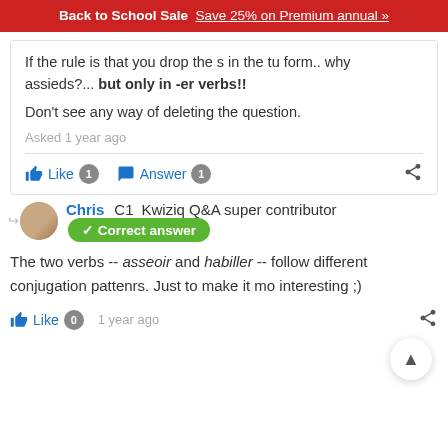Back to School Sale  Save 25% on Premium annual »
If the rule is that you drop the s in the tu form.. why assieds?... but only in -er verbs!!
Don't see any way of deleting the question.
Asked 1 year ago
Like 1  Answer 1
Chris  C1  Kwiziq Q&A super contributor
✓ Correct answer
The two verbs -- asseoir and habiller -- follow different conjugation pattenrs. Just to make it mo interesting ;)
Like 0  1 year ago